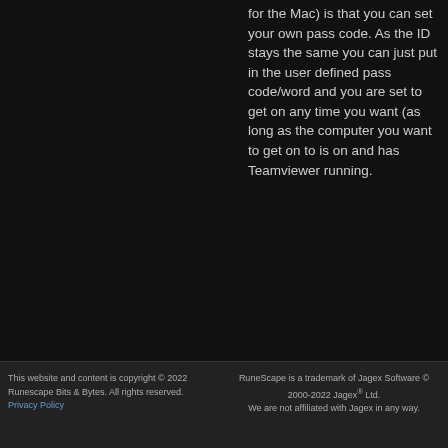for the Mac) is that you can set your own pass code. As the ID stays the same you can just put in the user defined pass code/word and you are set to get on any time you want (as long as the computer you want to get on to is on and has Teamviewer running.
This website and content is copyright © 2022 Runescape Bits & Bytes. All rights reserved. Privacy Policy | RuneScape is a trademark of Jagex Software © 2000-2022 Jagex® Ltd. We are not affiliated with Jagex in any way.